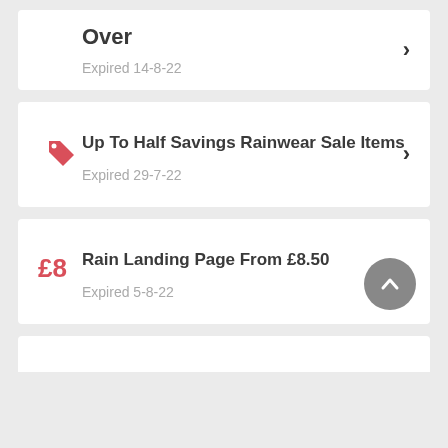Over
Expired 14-8-22
Up To Half Savings Rainwear Sale Items
Expired 29-7-22
Rain Landing Page From £8.50
Expired 5-8-22